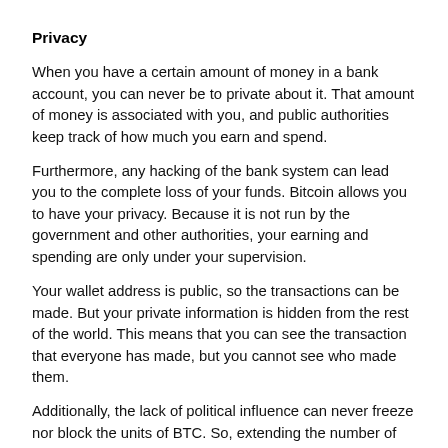Privacy
When you have a certain amount of money in a bank account, you can never be to private about it. That amount of money is associated with you, and public authorities keep track of how much you earn and spend.
Furthermore, any hacking of the bank system can lead you to the complete loss of your funds. Bitcoin allows you to have your privacy. Because it is not run by the government and other authorities, your earning and spending are only under your supervision.
Your wallet address is public, so the transactions can be made. But your private information is hidden from the rest of the world. This means that you can see the transaction that everyone has made, but you cannot see who made them.
Additionally, the lack of political influence can never freeze nor block the units of BTC. So, extending the number of units will not impact any holders of BTC whatsoever.